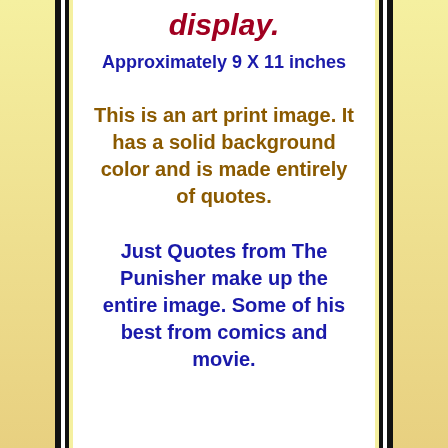display.
Approximately 9 X 11 inches
This is an art print image. It has a solid background color and is made entirely of quotes.
Just Quotes from The Punisher make up the entire image. Some of his best from comics and movie.